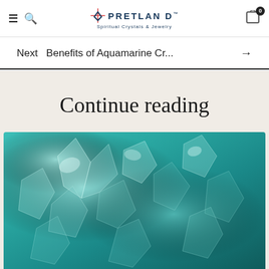≡ 🔍 PRETLAND™ Spiritual Crystals & Jewelry [cart: 0]
Next  Benefits of Aquamarine Cr...  →
Continue reading
[Figure (photo): Close-up photo of aquamarine crystals with teal/turquoise coloring, showing crystalline facets and light reflections]